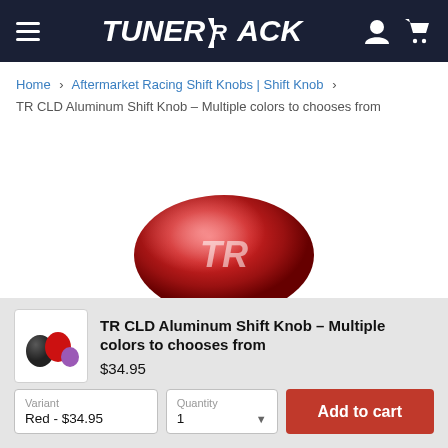TunerRack
Home > Aftermarket Racing Shift Knobs | Shift Knob > TR CLD Aluminum Shift Knob – Multiple colors to chooses from
[Figure (photo): Red aluminum shift knob with TR logo, viewed from above, on white background]
[Figure (photo): Thumbnail of multiple colored shift knobs (black, red, rainbow) on white background]
TR CLD Aluminum Shift Knob – Multiple colors to chooses from
$34.95
Variant
Red - $34.95
Quantity
1
Add to cart